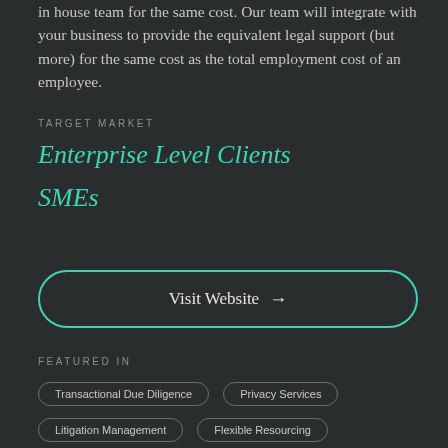in house team for the same cost. Our team will integrate with your business to provide the equivalent legal support (but more) for the same cost as the total employment cost of an employee.
TARGET MARKET
Enterprise Level Clients
SMEs
Visit Website →
FEATURED IN
Transactional Due Diligence
Privacy Services
Litigation Management
Flexible Resourcing